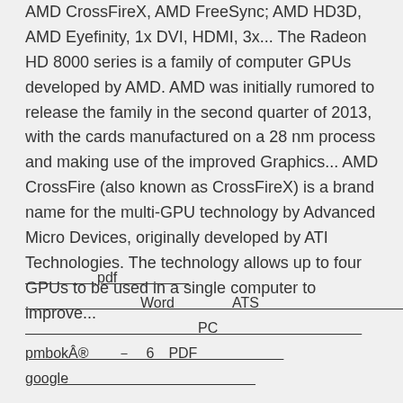AMD CrossFireX, AMD FreeSync; AMD HD3D, AMD Eyefinity, 1x DVI, HDMI, 3x... The Radeon HD 8000 series is a family of computer GPUs developed by AMD. AMD was initially rumored to release the family in the second quarter of 2013, with the cards manufactured on a 28 nm process and making use of the improved Graphics... AMD CrossFire (also known as CrossFireX) is a brand name for the multi-GPU technology by Advanced Micro Devices, originally developed by ATI Technologies. The technology allows up to four GPUs to be used in a single computer to improve...
pdf
Word　　　　ATS
PC
pmbok®　　－　6　PDF
google